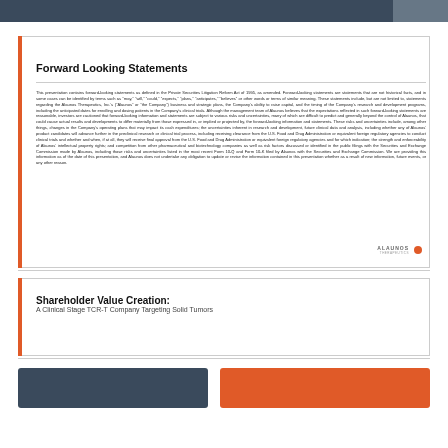Forward Looking Statements
This presentation contains forward-looking statements as defined in the Private Securities Litigation Reform Act of 1995, as amended. Forward-looking statements are statements that are not historical facts, and in some cases can be identified by terms such as "may," "will," "could," "expects," "plans," "anticipates," "believes" or other words or terms of similar meaning. These statements include, but are not limited to, statements regarding the Alaunos Therapeutics, Inc.'s ("Alaunos" or "the Company") business and strategic plans, the Company's ability to raise capital, and the timing of the Company's research and development programs, including the anticipated dates for enrolling and dosing patients in the Company's clinical trials. Although the management team of Alaunos believes that the expectations reflected in such forward-looking statements are reasonable, investors are cautioned that forward-looking information and statements are subject to various risks and uncertainties, many of which are difficult to predict and generally beyond the control of Alaunos, that could cause actual results and developments to differ materially from those expressed in, or implied or projected by, the forward-looking information and statements. These risks and uncertainties include, among other things, changes in the Company's operating plans that may impact its cash expenditures; the uncertainties inherent in research and development, future clinical data and analysis, including whether any of Alaunos' product candidates will advance further in the preclinical research or clinical trial process, including receiving clearance from the U.S. Food and Drug Administration or equivalent foreign regulatory agencies to conduct clinical trials and whether and when, if at all, they will receive final approval from the U.S. Food and Drug Administration or equivalent foreign regulatory agencies and for which indication; the strength and enforceability of Alaunos' intellectual property rights; and competition from other pharmaceutical and biotechnology companies as well as risk factors discussed or identified in the public filings with the Securities and Exchange Commission made by Alaunos, including those risks and uncertainties listed in the most recent Form 10-Q and Form 10-K filed by Alaunos with the Securities and Exchange Commission. We are providing this information as of the date of this presentation, and Alaunos does not undertake any obligation to update or revise the information contained in this presentation whether as a result of new information, future events, or any other reason.
[Figure (logo): Alaunos Therapeutics logo with orange circle dot]
Shareholder Value Creation:
A Clinical Stage TCR-T Company Targeting Solid Tumors